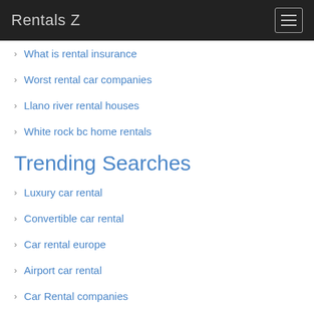Rentals Z
What is rental insurance
Worst rental car companies
Llano river rental houses
White rock bc home rentals
Trending Searches
Luxury car rental
Convertible car rental
Car rental europe
Airport car rental
Car Rental companies
Boston car rental
Sydney car rental
Barcelona car rental